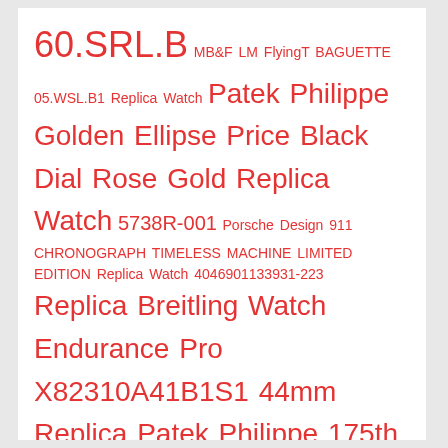60.SRL.B MB&F LM FlyingT BAGUETTE 05.WSL.B1 Replica Watch Patek Philippe Golden Ellipse Price Black Dial Rose Gold Replica Watch 5738R-001 Porsche Design 911 CHRONOGRAPH TIMELESS MACHINE LIMITED EDITION Replica Watch 4046901133931-223 Replica Breitling Watch Endurance Pro X82310A41B1S1 44mm Replica Patek Philippe 175th Commemorative Collection Men Watch 5175R-001 - Rose Gold Replica Richard Mille RM 039 Tourbillon Aviation E6-B Flyback Chronograph Watch Replica Watch Patek Philippe Ref. 6300A Grandmaster Chime Edition 6300A-010 richard mille nadal replica Richard Mille Replica Watch White RM 055 Bubba Watson RICHARD MILLE RM 27-04 Tourbillon Rafael Nadal Richard Mille RM 27-04